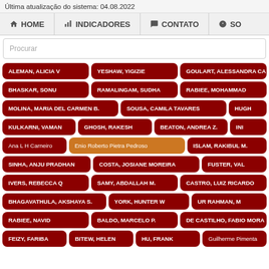Última atualização do sistema: 04.08.2022
HOME | INDICADORES | CONTATO | SO
Procurar
ALEMAN, ALICIA V
YESHAW, YIGIZIE
GOULART, ALESSANDRA CA
BHASKAR, SONU
RAMALINGAM, SUDHA
RABIEE, MOHAMMAD
MOLINA, MARIA DEL CARMEN B.
SOUSA, CAMILA TAVARES
HUGH
KULKARNI, VAMAN
GHOSH, RAKESH
BEATON, ANDREA Z.
INI
Ana L H Carneiro
Enio Roberto Pietra Pedroso
ISLAM, RAKIBUL M.
SINHA, ANJU PRADHAN
COSTA, JOSIANE MOREIRA
FUSTER, VAL
IVERS, REBECCA Q
SAMY, ABDALLAH M.
CASTRO, LUIZ RICARDO
BHAGAVATHULA, AKSHAYA S.
YORK, HUNTER W
UR RAHMAN, M
RABIEE, NAVID
BALDO, MARCELO P.
DE CASTILHO, FABIO MORA
FEIZY, FARIBA
BITEW, HELEN
HU, FRANK
Guilherme Pimenta